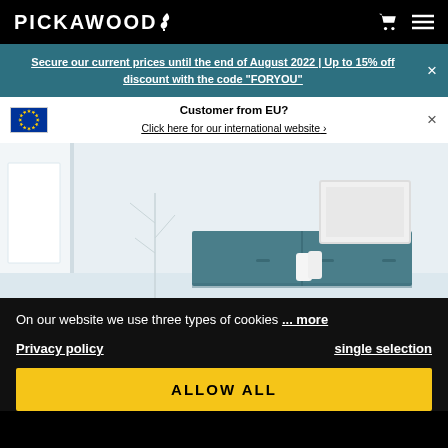PICKAWOOD
Secure our current prices until the end of August 2022 | Up to 15% off discount with the code "FORYOU"
Customer from EU?
Click here for our international website
[Figure (photo): Interior room scene showing a teal/blue sideboard cabinet with handles, a white picture frame leaning against the wall, and white wall panels in the background]
On our website we use three types of cookies ... more
Privacy policy
single selection
ALLOW ALL